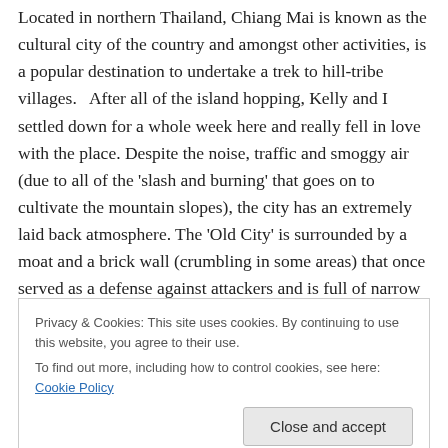Located in northern Thailand, Chiang Mai is known as the cultural city of the country and amongst other activities, is a popular destination to undertake a trek to hill-tribe villages.  After all of the island hopping, Kelly and I settled down for a whole week here and really fell in love with the place. Despite the noise, traffic and smoggy air (due to all of the 'slash and burning' that goes on to cultivate the mountain slopes), the city has an extremely laid back atmosphere. The 'Old City' is surrounded by a moat and a brick wall (crumbling in some areas) that once served as a defense against attackers and is full of narrow
Privacy & Cookies: This site uses cookies. By continuing to use this website, you agree to their use.
To find out more, including how to control cookies, see here: Cookie Policy
[Figure (photo): Bottom portion of a photo strip showing what appears to be people, visible at the very bottom of the page]